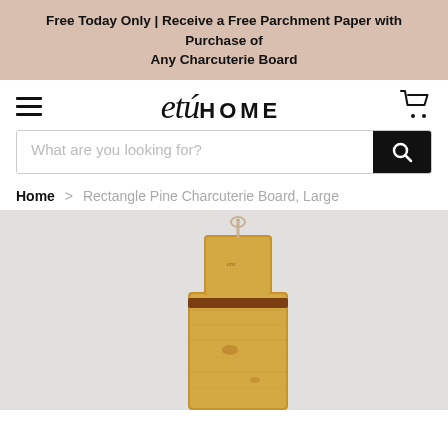Free Today Only | Receive a Free Parchment Paper with Purchase of Any Charcuterie Board
[Figure (logo): etu HOME logo with script 'etu' and sans-serif 'HOME', hamburger menu icon on left, shopping cart icon on right]
What are you looking for?
Home > Rectangle Pine Charcuterie Board, Large
[Figure (photo): Rectangle pine charcuterie board, large size, with rope hanging loop at top and dark leather strap near top, photographed against light gray background]